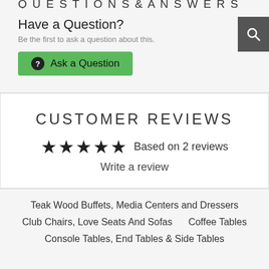QUESTIONS & ANSWERS
Have a Question?
Be the first to ask a question about this.
Ask a Question
CUSTOMER REVIEWS
★★★★★ Based on 2 reviews
Write a review
Teak Wood Buffets, Media Centers and Dressers
Club Chairs, Love Seats And Sofas     Coffee Tables
Console Tables, End Tables & Side Tables